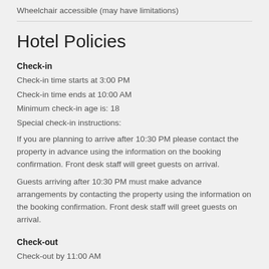Wheelchair accessible (may have limitations)
Hotel Policies
Check-in
Check-in time starts at 3:00 PM
Check-in time ends at 10:00 AM
Minimum check-in age is: 18
Special check-in instructions:
If you are planning to arrive after 10:30 PM please contact the property in advance using the information on the booking confirmation. Front desk staff will greet guests on arrival.
Guests arriving after 10:30 PM must make advance arrangements by contacting the property using the information on the booking confirmation. Front desk staff will greet guests on arrival.
Check-out
Check-out by 11:00 AM